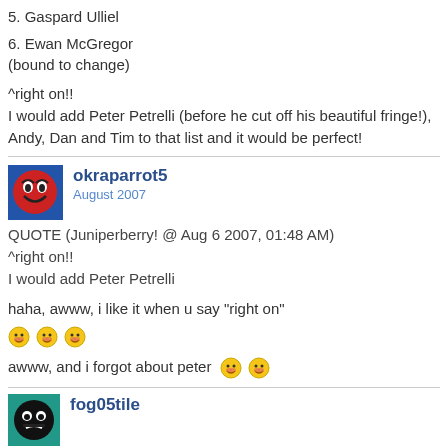5. Gaspard Ulliel
6. Ewan McGregor
(bound to change)
^right on!!
I would add Peter Petrelli (before he cut off his beautiful fringe!), Andy, Dan and Tim to that list and it would be perfect!
[Figure (illustration): Avatar icon for user okraparrot5: blue square background with red emoji-style smiley face]
okraparrot5
August 2007
QUOTE (Juniperberry! @ Aug 6 2007, 01:48 AM)
^right on!!
I would add Peter Petrelli
haha, awww, i like it when u say "right on"
awww, and i forgot about peter
[Figure (illustration): Avatar icon for user fog05tile: teal/green square background with dark face emoji]
fog05tile